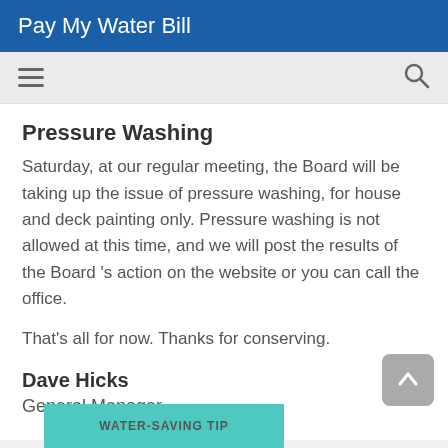Pay My Water Bill
Pressure Washing
Saturday, at our regular meeting, the Board will be taking up the issue of pressure washing, for house and deck painting only. Pressure washing is not allowed at this time, and we will post the results of the Board 's action on the website or you can call the office.
That’s all for now. Thanks for conserving.
Dave Hicks
General Manager
[Figure (other): Teal/turquoise card with text WATER-SAVING TIP partially visible at bottom of page]